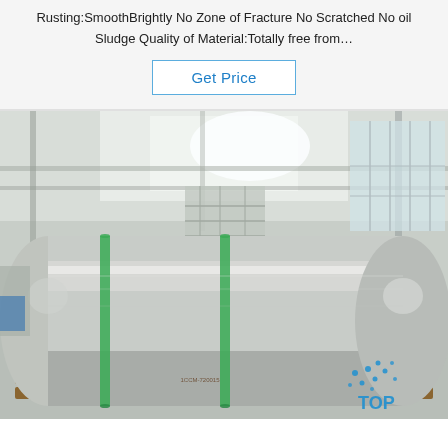Rusting:SmoothBrightly No Zone of Fracture No Scratched No oil Sludge Quality of Material:Totally free from…
Get Price
[Figure (photo): Large industrial aluminum or steel roll/coil on a wooden pallet inside a factory warehouse. The roll is silver/metallic with green strapping bands. Background shows factory interior with steel structure, staircases, and large windows.]